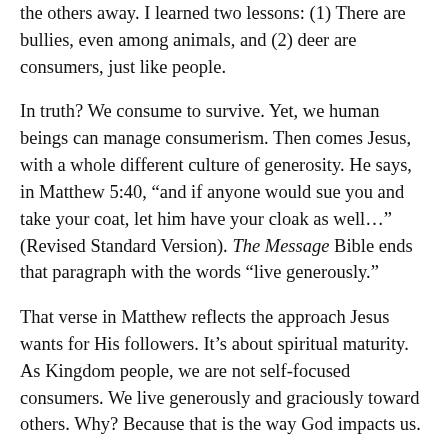the others away. I learned two lessons: (1) There are bullies, even among animals, and (2) deer are consumers, just like people.
In truth? We consume to survive. Yet, we human beings can manage consumerism. Then comes Jesus, with a whole different culture of generosity. He says, in Matthew 5:40, “and if anyone would sue you and take your coat, let him have your cloak as well…” (Revised Standard Version). The Message Bible ends that paragraph with the words “live generously.”
That verse in Matthew reflects the approach Jesus wants for His followers. It’s about spiritual maturity. As Kingdom people, we are not self-focused consumers. We live generously and graciously toward others. Why? Because that is the way God impacts us.